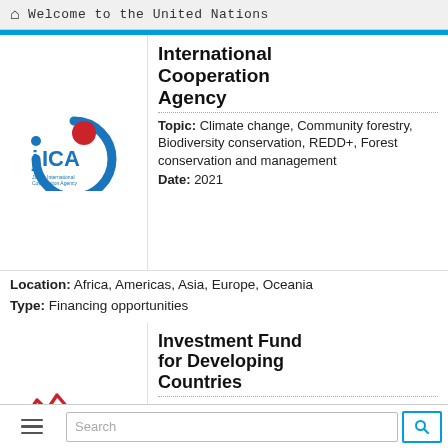Welcome to the United Nations
[Figure (logo): JICA - Japan International Cooperation Agency logo with blue circular arrow and red dot]
International Cooperation Agency
Topic: Climate change, Community forestry, Biodiversity conservation, REDD+, Forest conservation and management
Date: 2021
Location: Africa, Americas, Asia, Europe, Oceania
Type: Financing opportunities
[Figure (logo): Investment Fund for Developing Countries logo with red zigzag lines and text INVESTMENT FUND FOR]
Investment Fund for Developing Countries
Topic: Climate change, Agroforestry, Soil and